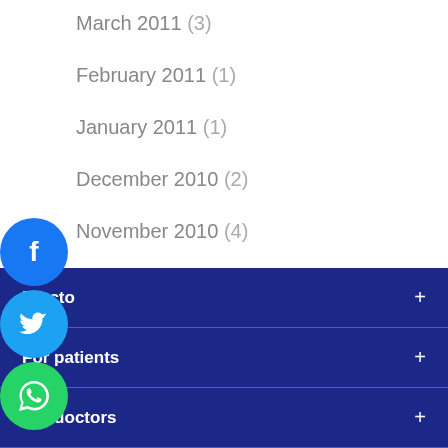March 2011 (3)
February 2011 (1)
January 2011 (1)
December 2010 (2)
November 2010 (4)
July 2010 (2)
April 2010 (1)
Practo
For patients
For doctors